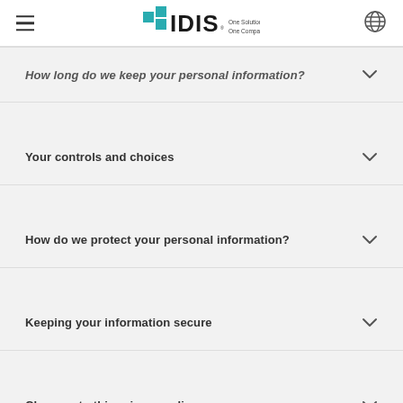IDIS — One Solution. One Company.
How long do we keep your personal information?
Your controls and choices
How do we protect your personal information?
Keeping your information secure
Changes to this privacy policy
Previous changes to this privacy policy